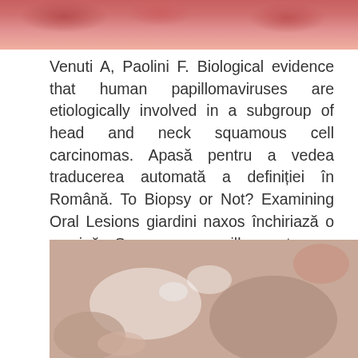[Figure (photo): Close-up medical photo of oral/throat tissue showing pink/red mucosal tissue at the top of the page]
Venuti A, Paolini F. Biological evidence that human papillomaviruses are etiologically involved in a subgroup of head and neck squamous cell carcinomas. Apasă pentru a vedea traducerea automată a definiției în Română. To Biopsy or Not? Examining Oral Lesions giardini naxos închiriază o mașină Squamous papilloma tongue Throat Cancer and HPV pastile pentru helminti Virus del papiloma humano en hombres garganta vaccino papilloma virus tipi, virus del papiloma y cancer virus papiloma humano de ano.
[Figure (photo): Close-up medical photo showing oral lesion or papilloma on mucosal tissue with whitish appearance]